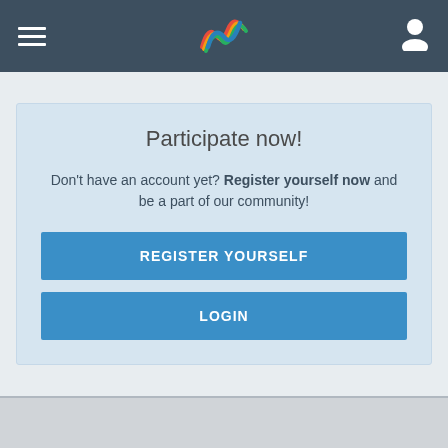[Figure (logo): Navigation bar with hamburger menu icon on left, colorful wave logo in center, user profile icon on right, all on dark blue-grey background]
Participate now!
Don't have an account yet? Register yourself now and be a part of our community!
REGISTER YOURSELF
LOGIN
This site uses cookies. By continuing to browse this site, you are agreeing to our use of cookies.
More Details
Close